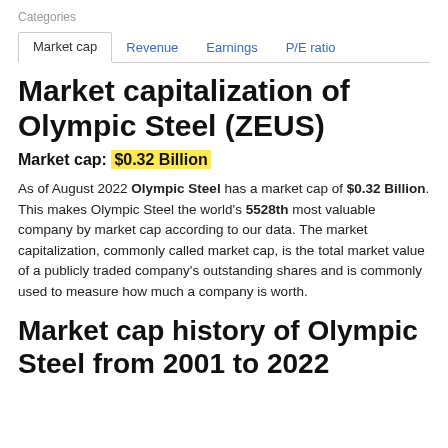Categories
Market cap | Revenue | Earnings | P/E ratio
Market capitalization of Olympic Steel (ZEUS)
Market cap: $0.32 Billion
As of August 2022 Olympic Steel has a market cap of $0.32 Billion. This makes Olympic Steel the world's 5528th most valuable company by market cap according to our data. The market capitalization, commonly called market cap, is the total market value of a publicly traded company's outstanding shares and is commonly used to measure how much a company is worth.
Market cap history of Olympic Steel from 2001 to 2022